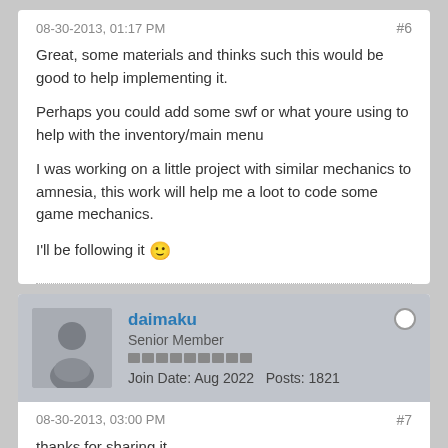08-30-2013, 01:17 PM   #6
Great, some materials and thinks such this would be good to help implementing it.

Perhaps you could add some swf or what youre using to help with the inventory/main menu

I was working on a little project with similar mechanics to amnesia, this work will help me a loot to code some game mechanics.

I'll be following it 🙂
daimaku
Senior Member
Join Date: Aug 2022   Posts: 1821
08-30-2013, 03:00 PM   #7
thanks for sharing it